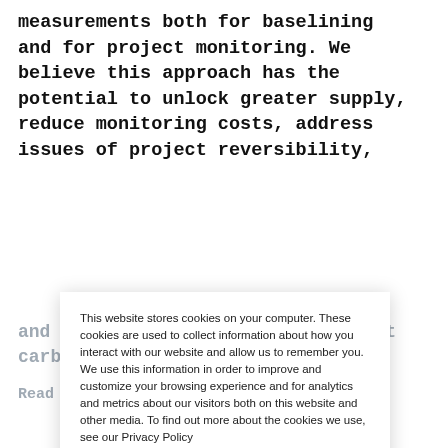measurements both for baselining and for project monitoring. We believe this approach has the potential to unlock greater supply, reduce monitoring costs, address issues of project reversibility,
and increase transparency in forest carbon markets.
Read More
Methodology
For Short Ton Harvest Deferral
The Natural Capital Exchange Approach is based on
This website stores cookies on your computer. These cookies are used to collect information about how you interact with our website and allow us to remember you. We use this information in order to improve and customize your browsing experience and for analytics and metrics about our visitors both on this website and other media. To find out more about the cookies we use, see our Privacy Policy

If you decline, your information won't be tracked when you visit this website. A single cookie will be used in your browser to remember your preference not to be tracked.